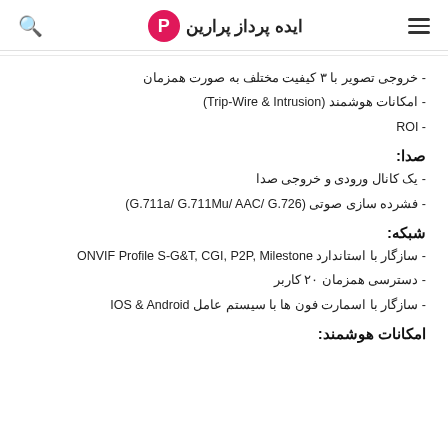ایده پرداز پرارین
- خروجی تصویر با ۳ کیفیت مختلف به صورت همزمان
- امکانات هوشمند (Trip-Wire & Intrusion)
- ROI
صدا:
- یک کانال ورودی و خروجی صدا
- فشرده سازی صوتی (G.711a/ G.711Mu/ AAC/ G.726)
شبکه:
- سازگار با استاندارد ONVIF Profile S-G&T, CGI, P2P, Milestone
- دسترسی همزمان ۲۰ کاربر
- سازگار با اسمارت فون ها با سیستم عامل IOS & Android
امکانات هوشمند: